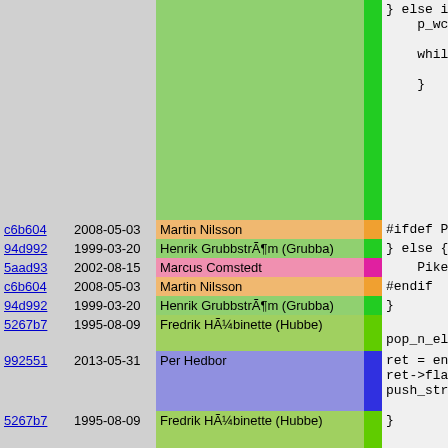| hash | date | author | strip | code |
| --- | --- | --- | --- | --- |
|  |  |  |  | } else i
    p_wcha

    while(
        DO_U
    } |
| c6b604 | 2008-05-03 | Martin Nilsson |  | #ifdef PIK |
| 94d992 | 1999-03-20 | Henrik GrubbstrÃ¶m (Grubba) |  | } else { |
| 5aad93 | 2002-08-15 | Marcus Comstedt |  | Pike_f |
| c6b604 | 2008-05-03 | Martin Nilsson |  | #endif |
| 94d992 | 1999-03-20 | Henrik GrubbstrÃ¶m (Grubba) |  | } |
| 5267b7 | 1995-08-09 | Fredrik HÃ¼binette (Hubbe) |  | pop_n_el |
| 992551 | 2013-05-31 | Per Hedbor |  | ret = en
ret->fla
push_str |
| 5267b7 | 1995-08-09 | Fredrik HÃ¼binette (Hubbe) |  | } |
| 9c1a7b | 2001-01-08 | Henrik GrubbstrÃ¶m (Grubba) |  | /*! @decl
 *! |
| 554e22 | 2001-05-06 | Henrik GrubbstrÃ¶m (Grubba) |  | *!      Retu |
| 9c1a7b | 2001-01-08 | Henrik GrubbstrÃ¶m (Grubba) |  | */ |